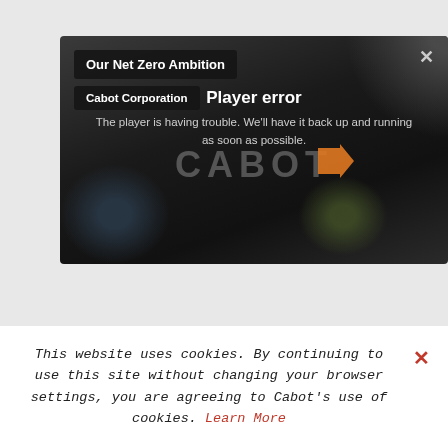[Figure (screenshot): Video player showing a player error message. Dark background with hexagonal blob shapes. Labels 'Our Net Zero Ambition' and 'Cabot Corporation' appear as dark buttons in top left. A close (X) button is in the top right. The CABOT logo text and an orange arrow appear in the center. An error message reads 'Player error' and 'The player is having trouble. We'll have it back up and running as soon as possible.']
This website uses cookies. By continuing to use this site without changing your browser settings, you are agreeing to Cabot's use of cookies. Learn More